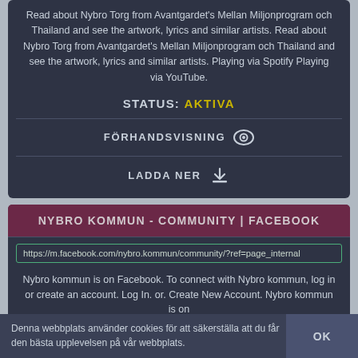Read about Nybro Torg from Avantgardet's Mellan Miljonprogram och Thailand and see the artwork, lyrics and similar artists. Read about Nybro Torg from Avantgardet's Mellan Miljonprogram och Thailand and see the artwork, lyrics and similar artists. Playing via Spotify Playing via YouTube.
STATUS: AKTIVA
FÖRHANDSVISNING
LADDA NER
NYBRO KOMMUN - COMMUNITY | FACEBOOK
https://m.facebook.com/nybro.kommun/community/?ref=page_internal
Nybro kommun is on Facebook. To connect with Nybro kommun, log in or create an account. Log In. or. Create New Account. Nybro kommun is on
Denna webbplats använder cookies för att säkerställa att du får den bästa upplevelsen på vår webbplats.